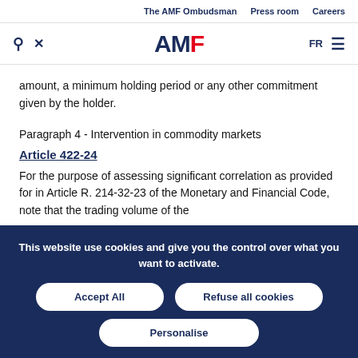The AMF Ombudsman   Press room   Careers
[Figure (logo): AMF logo with search and menu icons]
amount, a minimum holding period or any other commitment given by the holder.
Paragraph 4 - Intervention in commodity markets
Article 422-24
For the purpose of assessing significant correlation as provided for in Article R. 214-32-23 of the Monetary and Financial Code, note that the trading volume of the